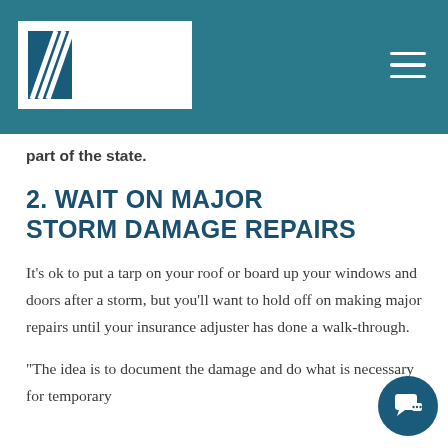GCI
part of the state.
2. WAIT ON MAJOR STORM DAMAGE REPAIRS
It's ok to put a tarp on your roof or board up your windows and doors after a storm, but you'll want to hold off on making major repairs until your insurance adjuster has done a walk-through.
“The idea is to document the damage and do what is necessary for temporary